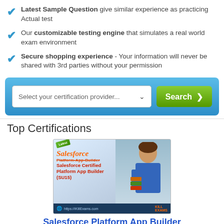Latest Sample Question give similar experience as practicing Actual test
Our customizable testing engine that simulates a real world exam environment
Secure shopping experience - Your information will never be shared with 3rd parties without your permission
[Figure (screenshot): Blue search box with dropdown 'Select your certification provider...' and green Search button]
Top Certifications
[Figure (infographic): Salesforce Platform-App-Builder Salesforce Certified Platform App Builder (SU15) promotional banner with woman holding books]
Salesforce Platform App Builder